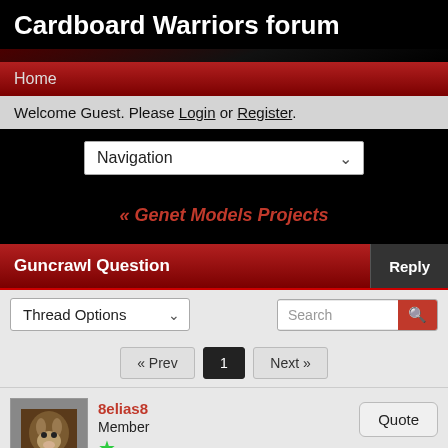Cardboard Warriors forum
Home
Welcome Guest. Please Login or Register.
Navigation
« Genet Models Projects
Guncrawl Question
Thread Options
« Prev  1  Next »
8elias8
Member
Dec 12, 2015 at 6:02am
Quote